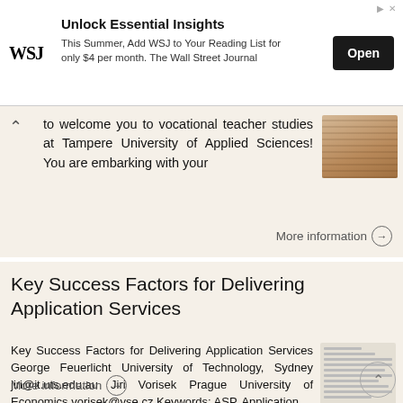[Figure (infographic): WSJ advertisement banner with logo, text about adding WSJ to reading list for $4/month, and an Open button]
to welcome you to vocational teacher studies at Tampere University of Applied Sciences! You are embarking with your
More information →
Key Success Factors for Delivering Application Services
Key Success Factors for Delivering Application Services George Feuerlicht University of Technology, Sydney jiri@it.uts.edu.au Jiri Vorisek Prague University of Economics vorisek@vse.cz Keywords: ASP, Application
More information →